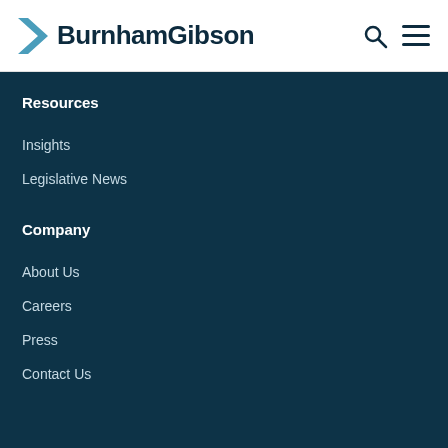[Figure (logo): BurnhamGibson logo with blue chevron arrow and dark navy text]
Resources
Insights
Legislative News
Company
About Us
Careers
Press
Contact Us